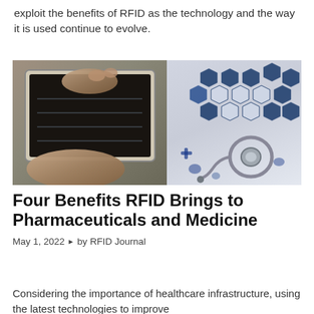exploit the benefits of RFID as the technology and the way it is used continue to evolve.
[Figure (photo): Hands using a tablet device on a desk with a stethoscope and blue hexagonal medical/technology icons arranged on a white surface]
Four Benefits RFID Brings to Pharmaceuticals and Medicine
May 1, 2022  ▶  by  RFID Journal
Considering the importance of healthcare infrastructure, using the latest technologies to improve